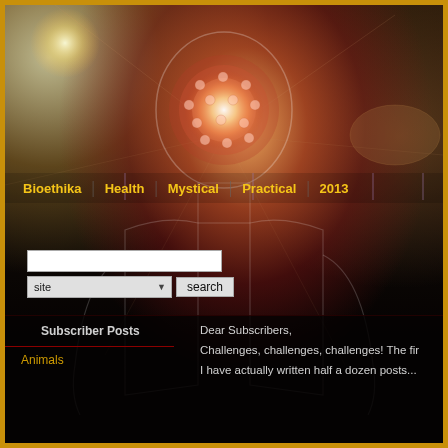[Figure (illustration): Website header with glowing brain/sphere inside human head silhouette against space/cosmic background with warm orange/amber hues]
Bioethika | Health | Mystical | Practical | 2013
[Figure (screenshot): Search form with text input, site dropdown selector, and search button]
Subscriber Posts
Animals
Dear Subscribers,
Challenges, challenges, challenges! The fir
I have actually written half a dozen posts...